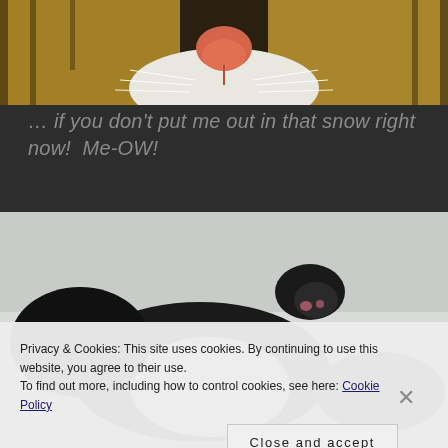[Figure (photo): Close-up photo of a cat's face (nose and whiskers area visible), showing orange/pink nose, white fur and whiskers on dark background]
… if you don't put me out in that snow right now!  Me-OW!
[Figure (photo): Photo of a black and white cat outdoors in snow, showing the cat's paw and body]
Privacy & Cookies: This site uses cookies. By continuing to use this website, you agree to their use.
To find out more, including how to control cookies, see here: Cookie Policy